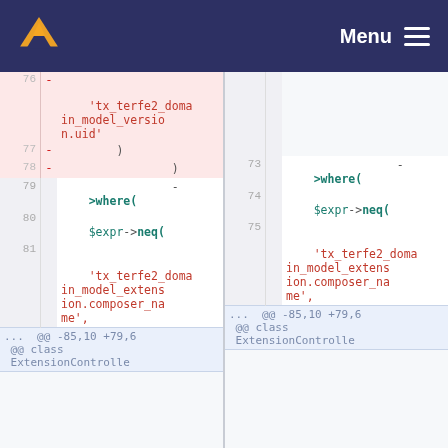Menu navigation bar with logo
[Figure (screenshot): Side-by-side diff view of PHP code showing removed lines (pink) with line numbers. Left pane shows lines 76-81 with removed string 'tx_terfe2_domain_model_version.uid' and a >where( $expr->neq( call. Right pane shows lines 73-75 with similar >where( $expr->neq( call and 'tx_terfe2_domain_model_extension.composer_name' string, plus hunk separators @@ -85,10 +79,6 @@ class ExtensionControll]